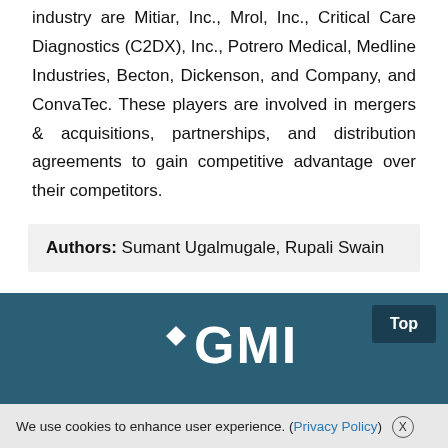industry are Mitiar, Inc., Mrol, Inc., Critical Care Diagnostics (C2DX), Inc., Potrero Medical, Medline Industries, Becton, Dickenson, and Company, and ConvaTec. These players are involved in mergers & acquisitions, partnerships, and distribution agreements to gain competitive advantage over their competitors.
Authors: Sumant Ugalmugale, Rupali Swain
[Figure (logo): GMI (Global Market Insights) logo in white on dark teal background]
We use cookies to enhance user experience. (Privacy Policy) X